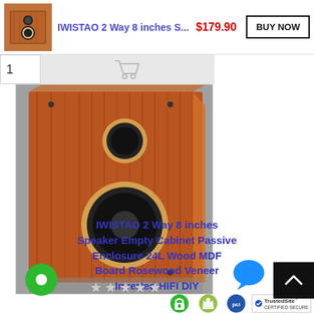[Figure (screenshot): Product listing top bar with thumbnail image of wooden speaker cabinet, product title 'IWISTAO 2 Way 8 inches S...', price '$179.90' in red, and 'BUY NOW' button]
IWISTAO 2 Way 8 inches S...
$179.90
[Figure (photo): Wooden speaker cabinet with two driver holes, rosewood veneer finish, photographed on grey carpet]
IWISTAO 2 Way 8 inches Speaker Empty Cabinet Passive Enclosure 24L Wood MDF Board Rosewood Veneer Inverted HIFI DIY
[Figure (other): Five grey star rating icons]